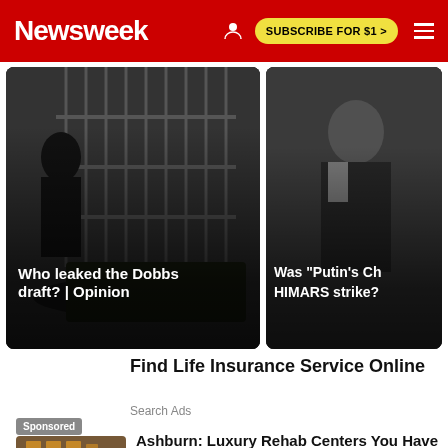Newsweek  SUBSCRIBE FOR $1 >
[Figure (photo): News article card: dark scene with metal fence/gate and people, overlaid text 'Who leaked the Dobbs draft? | Opinion']
[Figure (photo): News article card: man in dark jacket, partially cropped text 'Was "Putin's Ch... HIMARS strike?']
Find Life Insurance Service Online
Search Ads
Sponsored
[Figure (photo): Thumbnail photo of a luxury building, possibly a rehab center]
Ashburn: Luxury Rehab Centers You Have To See To Believe